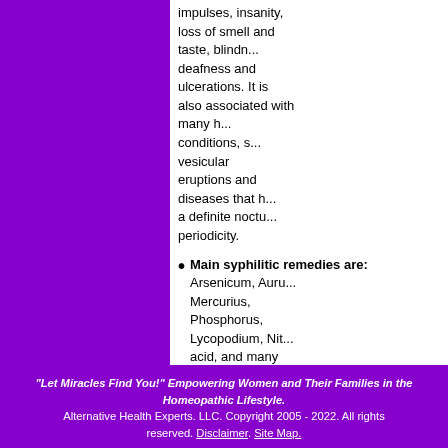impulses, insanity, loss of smell and taste, blindness, deafness and ulcerations. It is also associated with many herpes conditions, such as vesicular eruptions and diseases that have a definite nocturnal periodicity.
Main syphilitic remedies are: Arsenicum, Aurum, Mercurius, Phosphorus, Lycopodium, Nitric acid, and many others.
"Let Miracles Find You!" Empowering Women and Their Families in the Homeopathic Lifestyle. Alternative Health Experts. LLC. Copyright 2005 - 2022. All rights reserved. Disclaimer. Site Map.